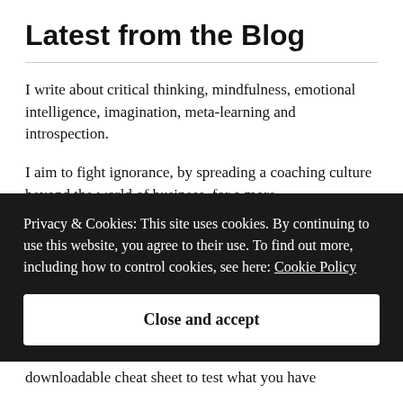Latest from the Blog
I write about critical thinking, mindfulness, emotional intelligence, imagination, meta-learning and introspection.
I aim to fight ignorance, by spreading a coaching culture beyond the world of business, for a more
Privacy & Cookies: This site uses cookies. By continuing to use this website, you agree to their use. To find out more, including how to control cookies, see here: Cookie Policy
Close and accept
downloadable cheat sheet to test what you have